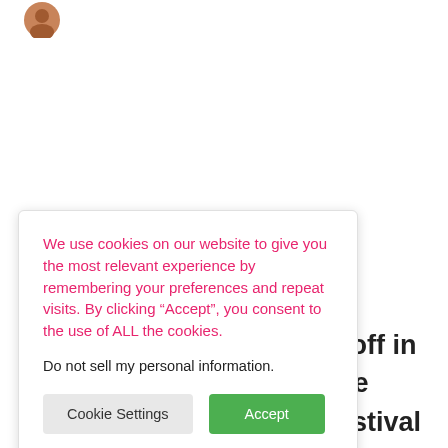[Figure (photo): Small circular avatar photo of a person, partially visible at top left corner]
We use cookies on our website to give you the most relevant experience by remembering your preferences and repeat visits. By clicking “Accept”, you consent to the use of ALL the cookies.
Do not sell my personal information.
Cookie Settings  Accept
s off in the festival ctober 16th t the festival.